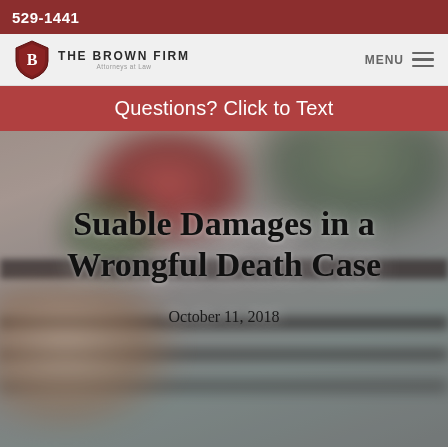529-1441
[Figure (logo): The Brown Firm shield logo with letter B and firm name]
Questions? Click to Text
[Figure (photo): Blurred photo of a person holding a red rose near a dark casket at a funeral]
Suable Damages in a Wrongful Death Case
October 11, 2018